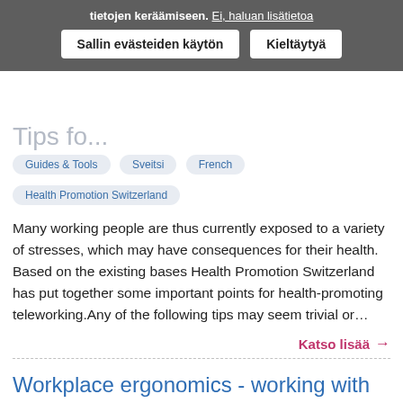tietojen keräämiseen. Ei, haluan lisätietoa
Sallin evästeiden käytön  Kieltäytyä
Tips fo...
Guides & Tools
Sveitsi
French
Health Promotion Switzerland
Many working people are thus currently exposed to a variety of stresses, which may have consequences for their health. Based on the existing bases Health Promotion Switzerland has put together some important points for health-promoting teleworking.Any of the following tips may seem trivial or…
Katso lisää →
Workplace ergonomics - working with laptops